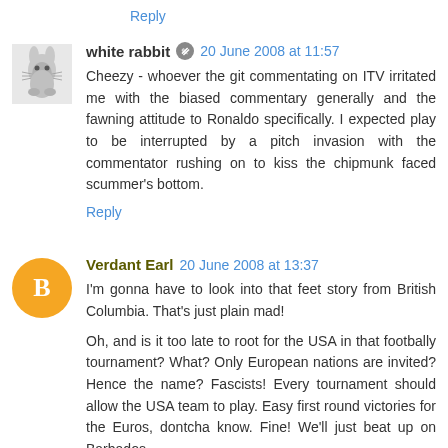Reply
white rabbit 🖊 20 June 2008 at 11:57
Cheezy - whoever the git commentating on ITV irritated me with the biased commentary generally and the fawning attitude to Ronaldo specifically. I expected play to be interrupted by a pitch invasion with the commentator rushing on to kiss the chipmunk faced scummer's bottom.
Reply
Verdant Earl 20 June 2008 at 13:37
I'm gonna have to look into that feet story from British Columbia. That's just plain mad!
Oh, and is it too late to root for the USA in that footbally tournament? What? Only European nations are invited? Hence the name? Fascists! Every tournament should allow the USA team to play. Easy first round victories for the Euros, dontcha know. Fine! We'll just beat up on Barbados